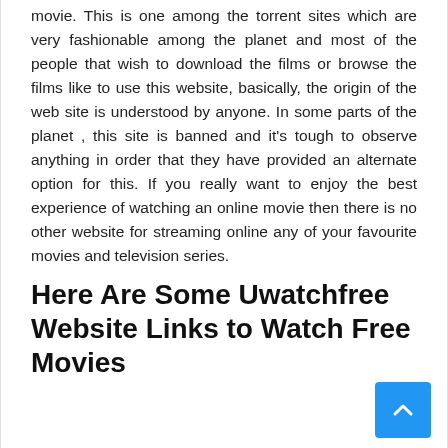movie. This is one among the torrent sites which are very fashionable among the planet and most of the people that wish to download the films or browse the films like to use this website, basically, the origin of the web site is understood by anyone. In some parts of the planet , this site is banned and it's tough to observe anything in order that they have provided an alternate option for this. If you really want to enjoy the best experience of watching an online movie then there is no other website for streaming online any of your favourite movies and television series.
Here Are Some Uwatchfree Website Links to Watch Free Movies